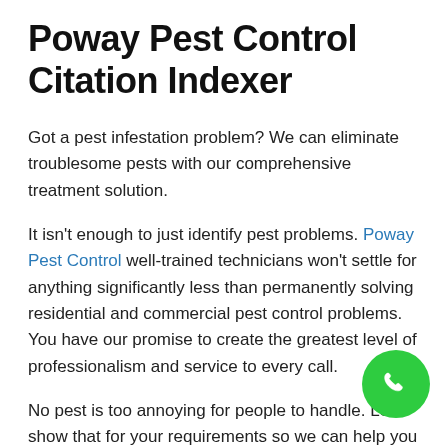Poway Pest Control Citation Indexer
Got a pest infestation problem? We can eliminate troublesome pests with our comprehensive treatment solution.
It isn't enough to just identify pest problems. Poway Pest Control well-trained technicians won't settle for anything significantly less than permanently solving residential and commercial pest control problems. You have our promise to create the greatest level of professionalism and service to every call.
No pest is too annoying for people to handle. Let's show that for your requirements so we can help you obtain your peace of mind back. We've an a few of treatment plans to make sure your property stays pest-free throughout each season all year- If your property or business will be invaded by pests, let us help